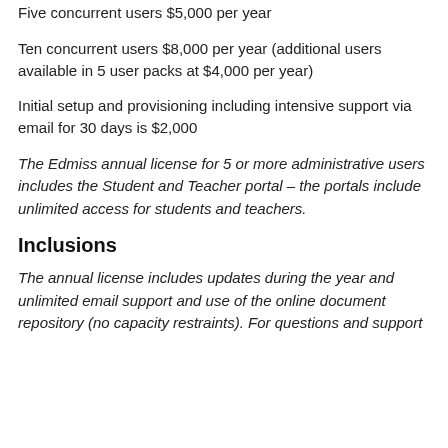Five concurrent users $5,000 per year
Ten concurrent users $8,000 per year (additional users available in 5 user packs at $4,000 per year)
Initial setup and provisioning including intensive support via email for 30 days is $2,000
The Edmiss annual license for 5 or more administrative users includes the Student and Teacher portal – the portals include unlimited access for students and teachers.
Inclusions
The annual license includes updates during the year and unlimited email support and use of the online document repository (no capacity restraints). For questions and support